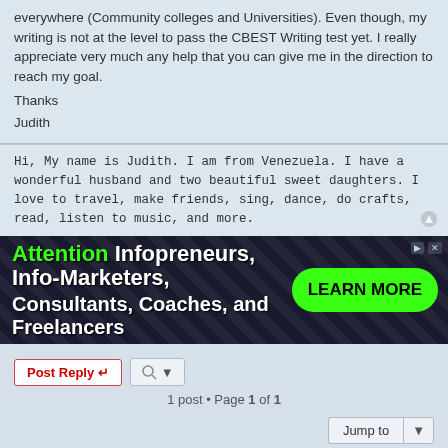everywhere (Community colleges and Universities). Even though, my writing is not at the level to pass the CBEST Writing test yet. I really appreciate very much any help that you can give me in the direction to reach my goal.
Thanks
Judith
Hi, My name is Judith. I am from Venezuela. I have a wonderful husband and two beautiful sweet daughters. I love to travel, make friends, sing, dance, do crafts, read, listen to music, and more.
[Figure (screenshot): Advertisement banner: Attention Infopreneurs, Info-Marketers, Consultants, Coaches, and Freelancers - LEARN MORE]
Post Reply
1 post • Page 1 of 1
Jump to
WHO IS ONLINE
Users browsing this forum: No registered users and 0 guests